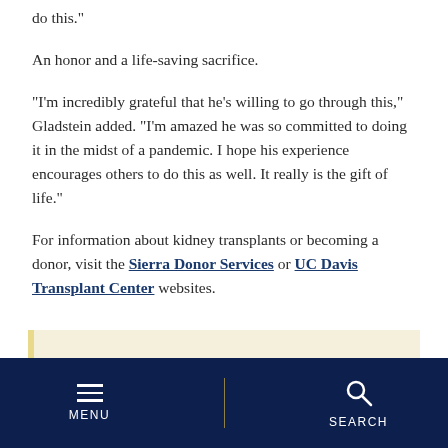do this.”
An honor and a life-saving sacrifice.
“I’m incredibly grateful that he’s willing to go through this,” Gladstein added. “I’m amazed he was so committed to doing it in the midst of a pandemic. I hope his experience encourages others to do this as well. It really is the gift of life.”
For information about kidney transplants or becoming a donor, visit the Sierra Donor Services or UC Davis Transplant Center websites.
UC Davis Health is improving lives and transforming health care by providing excellent
MENU  SEARCH